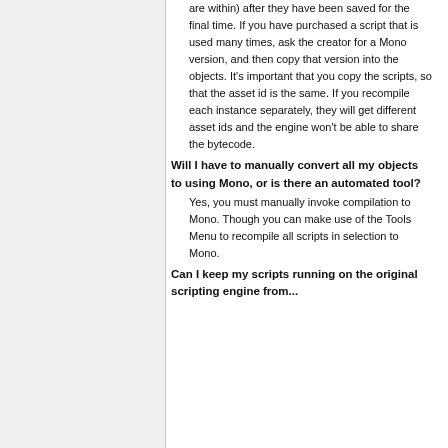are within) after they have been saved for the final time. If you have purchased a script that is used many times, ask the creator for a Mono version, and then copy that version into the objects. It's important that you copy the scripts, so that the asset id is the same. If you recompile each instance separately, they will get different asset ids and the engine won't be able to share the bytecode.
Will I have to manually convert all my objects to using Mono, or is there an automated tool?
Yes, you must manually invoke compilation to Mono. Though you can make use of the Tools Menu to recompile all scripts in selection to Mono.
Can I keep my scripts running on the original scripting engine from...